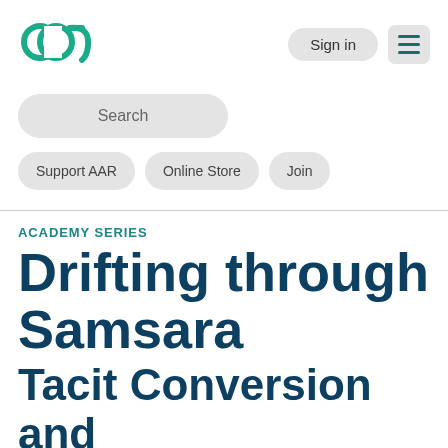[Figure (logo): AAR (American Academy of Religion) logo — teal circular interlocking letters]
Sign in
[Figure (other): Hamburger menu icon — three horizontal teal lines]
Search
Support AAR
Online Store
Join
ACADEMY SERIES
Drifting through Samsara
Tacit Conversion and